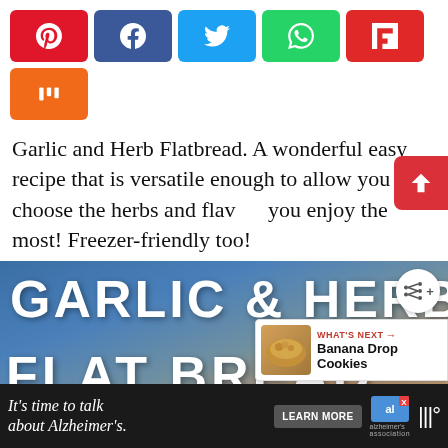[Figure (infographic): Social share buttons row: Pinterest (red), Facebook (dark blue), Twitter (light blue), WhatsApp (green), Flipboard (red), Mix (orange)]
Garlic and Herb Flatbread. A wonderful easy recipe that is versatile enough to allow you to choose the herbs and flavors you enjoy the most! Freezer-friendly too!
[Figure (photo): Photo/graphic of Garlic & Herb Flat Bread text overlaid on a flatbread/dough image. A 'What's Next' widget shows Banana Drop Cookies thumbnail.]
It's time to talk about Alzheimer's. LEARN MORE